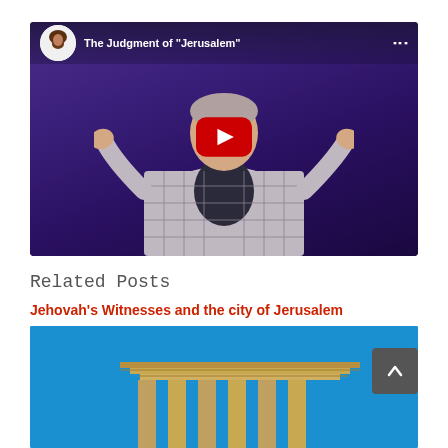[Figure (screenshot): YouTube video embed showing a man in a plaid jacket with arms raised in a shrug gesture against a purple background. Video title: The Judgment of "Jerusalem". YouTube channel avatar shows a figure in a hood with a beard.]
Related Posts
Jehovah's Witnesses and the city of Jerusalem
[Figure (photo): Thumbnail image showing ancient temple structure (likely Jerusalem temple model/reconstruction) against a blue sky background.]